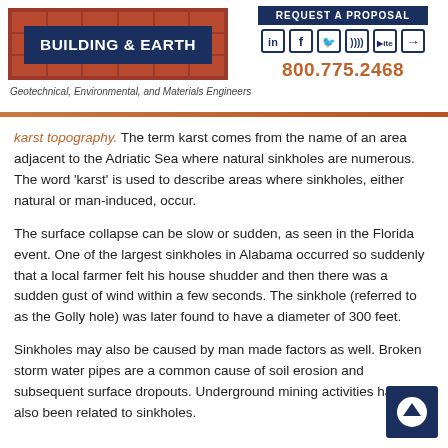[Figure (logo): Building & Earth company logo with brick pattern background and navy blue text box, with tagline 'Geotechnical, Environmental, and Materials Engineers']
[Figure (infographic): Header right side with REQUEST A PROPOSAL button, social media icons (LinkedIn, Facebook, Twitter, RSS, YouTube, login), and phone number 800.775.2468]
karst topography. The term karst comes from the name of an area adjacent to the Adriatic Sea where natural sinkholes are numerous. The word 'karst' is used to describe areas where sinkholes, either natural or man-induced, occur.
The surface collapse can be slow or sudden, as seen in the Florida event. One of the largest sinkholes in Alabama occurred so suddenly that a local farmer felt his house shudder and then there was a sudden gust of wind within a few seconds. The sinkhole (referred to as the Golly hole) was later found to have a diameter of 300 feet.
Sinkholes may also be caused by man made factors as well. Broken storm water pipes are a common cause of soil erosion and subsequent surface dropouts. Underground mining activities have also been related to sinkholes.